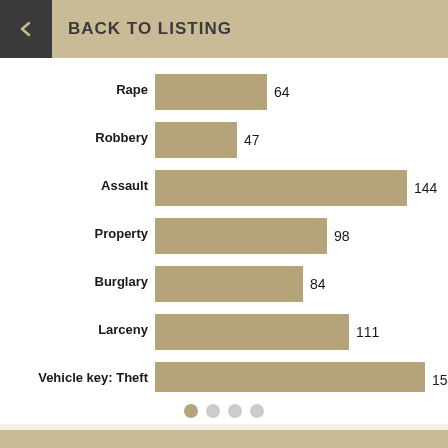BACK TO LISTING
[Figure (bar-chart): Crime statistics]